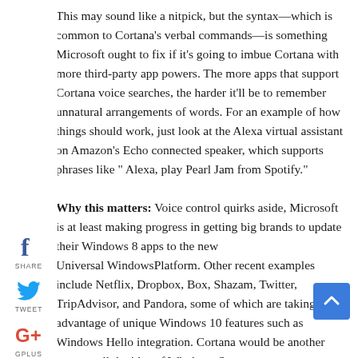This may sound like a nitpick, but the syntax—which is common to Cortana's verbal commands—is something Microsoft ought to fix if it's going to imbue Cortana with more third-party app powers. The more apps that support Cortana voice searches, the harder it'll be to remember unnatural arrangements of words. For an example of how things should work, just look at the Alexa virtual assistant on Amazon's Echo connected speaker, which supports phrases like " Alexa, play Pearl Jam from Spotify."
Why this matters: Voice control quirks aside, Microsoft is at least making progress in getting big brands to update their Windows 8 apps to the new Universal WindowsPlatform. Other recent examples include Netflix, Dropbox, Box, Shazam, Twitter, TripAdvisor, and Pandora, some of which are taking advantage of unique Windows 10 features such as Windows Hello integration. Cortana would be another way to sell the idea of Windows Store apps over traditional desktop programs, provided Microsoft can get the syntax down.